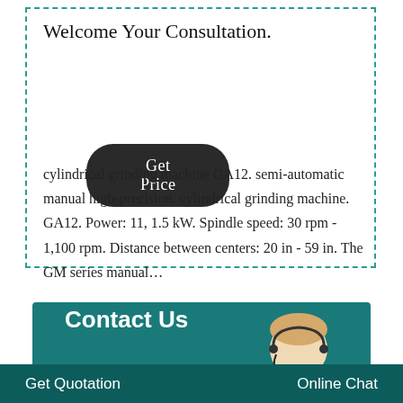Welcome Your Consultation.
Get Price
cylindrical grinding machine GA12. semi-automatic manual high-precision. cylindrical grinding machine. GA12. Power: 11, 1.5 kW. Spindle speed: 30 rpm - 1,100 rpm. Distance between centers: 20 in - 59 in. The GM series manual…
Contact Us
Get Quotation
Online Chat